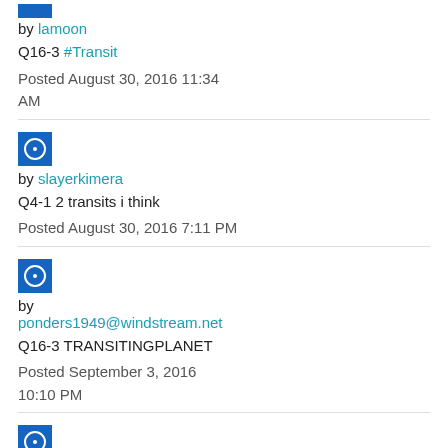by lamoon
Q16-3 #Transit
Posted August 30, 2016 11:34 AM
by slayerkimera
Q4-1 2 transits i think
Posted August 30, 2016 7:11 PM
by ponders1949@windstream.net
Q16-3 TRANSITINGPLANET
Posted September 3, 2016 10:10 PM
by blue_c
Q6-2 #transit D22